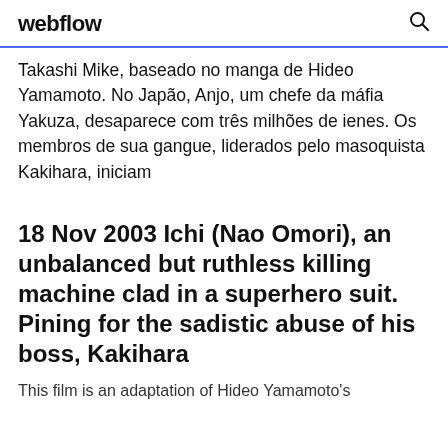webflow
Takashi Mike, baseado no manga de Hideo Yamamoto. No Japão, Anjo, um chefe da máfia Yakuza, desaparece com três milhões de ienes. Os membros de sua gangue, liderados pelo masoquista Kakihara, iniciam
18 Nov 2003 Ichi (Nao Omori), an unbalanced but ruthless killing machine clad in a superhero suit. Pining for the sadistic abuse of his boss, Kakihara
This film is an adaptation of Hideo Yamamoto's